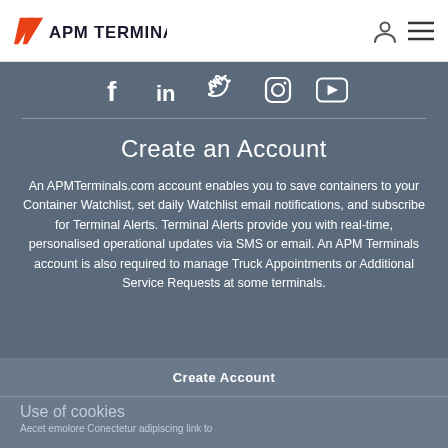APM Terminals
[Figure (logo): APM Terminals logo with two red diagonal stripes and text APM TERMINALS in dark]
[Figure (infographic): Row of social media icons: Facebook, LinkedIn, Twitter, Instagram, YouTube in white on dark grey background]
Create an Account
An APMTerminals.com account enables you to save containers to your Container Watchlist, set daily Watchlist email notifications, and subscribe for Terminal Alerts. Terminal Alerts provide you with real-time, personalised operational updates via SMS or email. An APM Terminals account is also required to manage Truck Appointments or Additional Service Requests at some terminals.
Create Account
Use of cookies